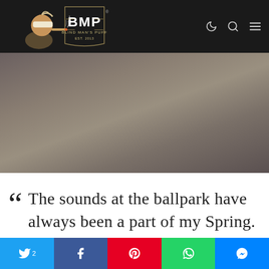[Figure (logo): Blind Man's Puff (BMP) logo — man with blindfold smoking a cigar, ornate shield with 'BMP' lettering and 'BLIND MAN'S PUFF EST. 2013']
[Figure (photo): Muted gray-brown hero image area, somewhat blurry/gradient background]
The sounds at the ballpark have always been a part of my Spring. Now we have an Asylum cigar to smoke for opening day. Fenway Park is my Holy Cathedral, but we have a
[Figure (infographic): Social sharing bar with Twitter (2), Facebook, Pinterest, WhatsApp, and Messenger buttons]